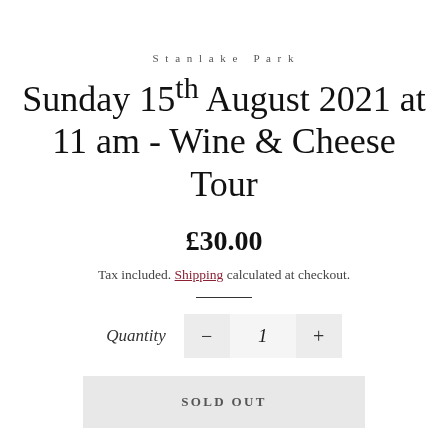Stanlake Park
Sunday 15th August 2021 at 11 am - Wine & Cheese Tour
£30.00
Tax included. Shipping calculated at checkout.
Quantity  −  1  +
SOLD OUT